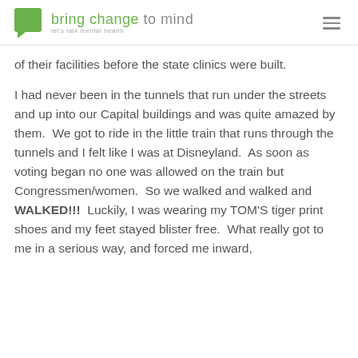bring change to mind — let's talk mental health
of their facilities before the state clinics were built.
I had never been in the tunnels that run under the streets and up into our Capital buildings and was quite amazed by them.  We got to ride in the little train that runs through the tunnels and I felt like I was at Disneyland.  As soon as voting began no one was allowed on the train but Congressmen/women.  So we walked and walked and WALKED!!!  Luckily, I was wearing my TOM'S tiger print shoes and my feet stayed blister free.  What really got to me in a serious way, and forced me inward,